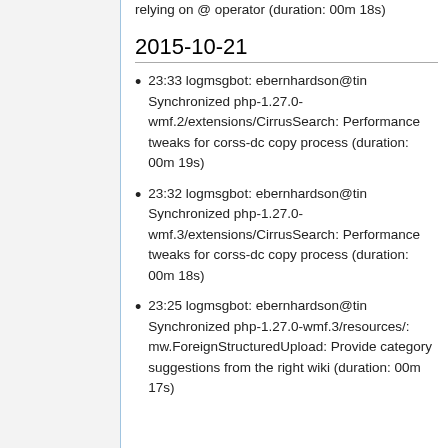relying on @ operator (duration: 00m 18s)
2015-10-21
23:33 logmsgbot: ebernhardson@tin Synchronized php-1.27.0-wmf.2/extensions/CirrusSearch: Performance tweaks for corss-dc copy process (duration: 00m 19s)
23:32 logmsgbot: ebernhardson@tin Synchronized php-1.27.0-wmf.3/extensions/CirrusSearch: Performance tweaks for corss-dc copy process (duration: 00m 18s)
23:25 logmsgbot: ebernhardson@tin Synchronized php-1.27.0-wmf.3/resources/: mw.ForeignStructuredUpload: Provide category suggestions from the right wiki (duration: 00m 17s)